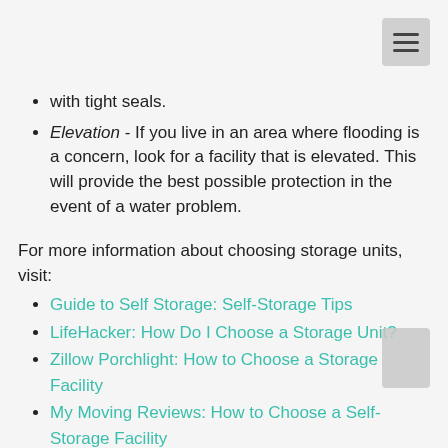with tight seals.
Elevation - If you live in an area where flooding is a concern, look for a facility that is elevated. This will provide the best possible protection in the event of a water problem.
For more information about choosing storage units, visit:
Guide to Self Storage: Self-Storage Tips
LifeHacker: How Do I Choose a Storage Unit?
Zillow Porchlight: How to Choose a Storage Facility
My Moving Reviews: How to Choose a Self-Storage Facility
Washington Post: Tuesday Tips - Choosing a Storage Facility
In addition to these features, you will want to consider insurance. If a disaster happens and your items are damaged, you need to know that you have the right coverage. Some insurance considerations include: